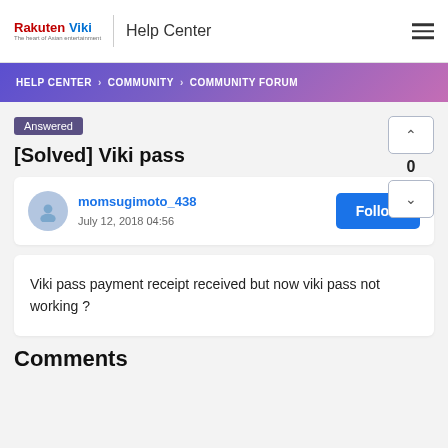Rakuten Viki | Help Center
HELP CENTER › COMMUNITY › COMMUNITY FORUM
Answered
[Solved] Viki pass
momsugimoto_438
July 12, 2018 04:56
Viki pass payment receipt received but now viki pass not working ?
Comments